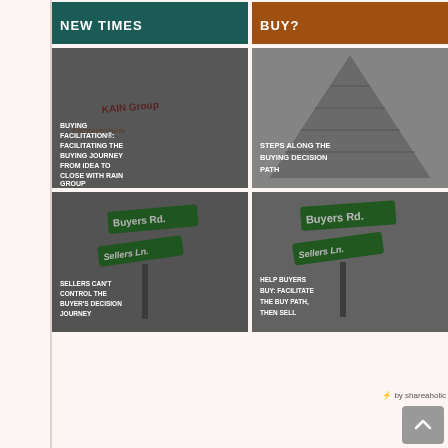[Figure (photo): Thumbnail with dark teal background and text NEW TIMES]
[Figure (photo): Thumbnail with orange/brown background and text BUY?]
[Figure (illustration): Thumbnail with gray overlay showing KAIN Group and Entrepreneurial text, overlaid with BUYING FACILITATION: FACILITATING THE BUYING JOURNEY FROM IDEA TO CLOSE WITH RAIN GROUP]
[Figure (illustration): Thumbnail with pyramid/steps image and text STEPS ALONG THE BUYING DECISION PATH]
[Figure (illustration): Thumbnail with Buyers Rd and Sellers Ln street signs, text SELLERS CAN'T CONTROL THE BUYER'S DECISION JOURNEY]
[Figure (illustration): Thumbnail with Buyers Rd and Sellers Ln street signs, text HELP BUYERS BUY: FACILITATE THE BUY PATH, THEN SELL]
by shareaholic